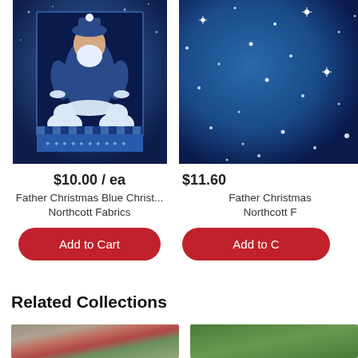[Figure (photo): Father Christmas Blue Christmas fabric panel showing Santa with polar bears and snowflake border]
$10.00 / ea
Father Christmas Blue Christ...
Northcott Fabrics
Add to Cart
[Figure (photo): Father Christmas blue snowy night sky fabric, dark blue with white snowflakes]
$11.60
Father Christmas
Northcott F
Add to C
Related Collections
[Figure (photo): Related collection thumbnail showing blended beige, red and green colors]
[Figure (photo): Related collection thumbnail showing solid green color]